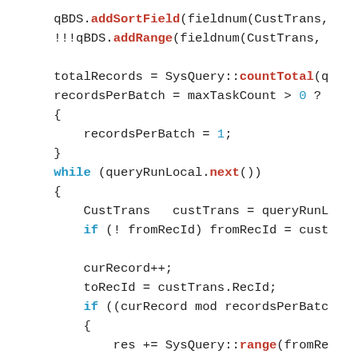[Figure (screenshot): Source code snippet in a monospace font showing X++ or similar language code with keywords in blue and function names in red. Code includes addSortField, addRange, countTotal, recordsPerBatch, while loop, query operations, SysQuery::range, and return statement.]